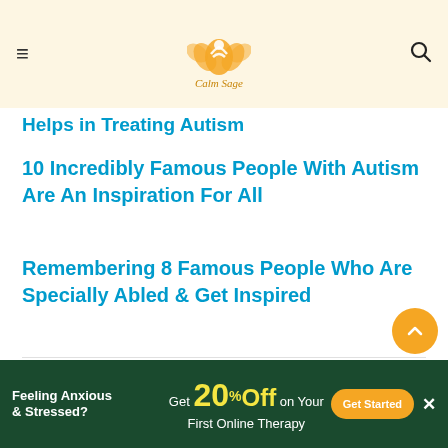Calm Sage
Helps in Treating Autism
10 Incredibly Famous People With Autism Are An Inspiration For All
Remembering 8 Famous People Who Are Specially Abled & Get Inspired
Leave a Reply
Your email address will not be published. Required fields are marked *
[Figure (other): Advertisement banner: Feeling Anxious & Stressed? Get 20% Off on Your First Online Therapy. Get Started button.]